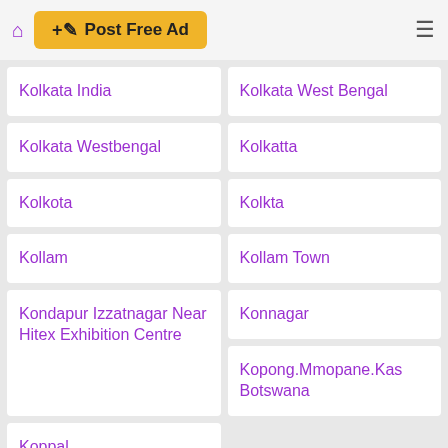Post Free Ad
Kolkata India
Kolkata West Bengal
Kolkata Westbengal
Kolkatta
Kolkota
Kolkta
Kollam
Kollam Town
Kondapur Izzatnagar Near Hitex Exhibition Centre
Konnagar
Kopong.Mmopane.Kas Botswana
Koppal